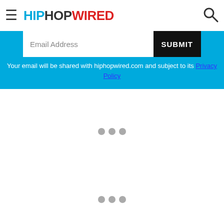HIPHOPWIRED (navigation header with hamburger menu and search icon)
Email Address
SUBMIT
Your email will be shared with hiphopwired.com and subject to its Privacy Policy
[Figure (other): Loading indicator — three gray dots centered in white space]
[Figure (other): Loading indicator — three gray dots centered in white space]